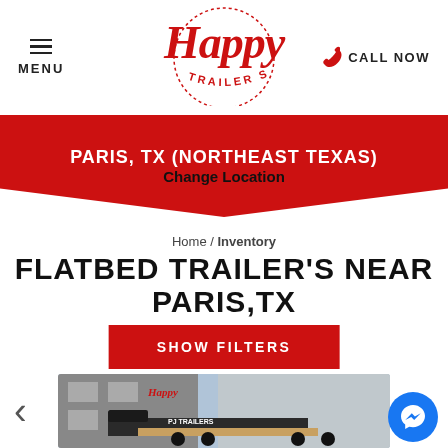MENU | Happy Trailer Sales | CALL NOW
PARIS, TX (NORTHEAST TEXAS)
Change Location
Home / Inventory
FLATBED TRAILER'S NEAR PARIS,TX
SHOW FILTERS
[Figure (photo): Photo of a black FJ Trailers flatbed gooseneck trailer parked outside the Happy Trailer Sales dealership building]